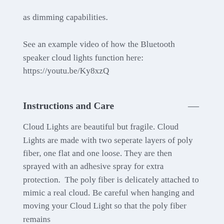as dimming capabilities.
See an example video of how the Bluetooth speaker cloud lights function here: https://youtu.be/Ky8xzQ
Instructions and Care
Cloud Lights are beautiful but fragile. Cloud Lights are made with two seperate layers of poly fiber, one flat and one loose. They are then sprayed with an adhesive spray for extra protection.  The poly fiber is delicately attached to mimic a real cloud. Be careful when hanging and moving your Cloud Light so that the poly fiber remains